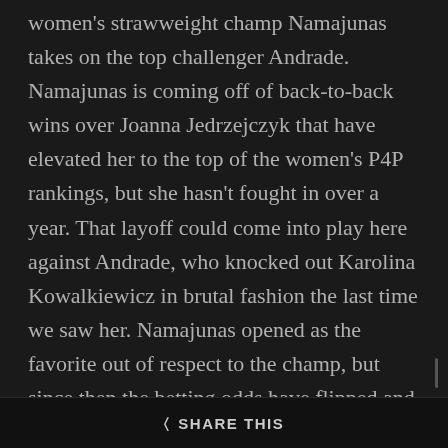women's strawweight champ Namajunas takes on the top challenger Andrade. Namajunas is coming off of back-to-back wins over Joanna Jedrzejczyk that have elevated her to the top of the women's P4P rankings, but she hasn't fought in over a year. That layoff could come into play here against Andrade, who knocked out Karolina Kowalkiewicz in brutal fashion the last time we saw her. Namajunas opened as the favorite out of respect to the champ, but since then the betting odds have flipped and Andrade has turned into the favorite. Considering the hometown advantage and the fact she has been fighting more frequently, it's easy to see why so
SHARE THIS